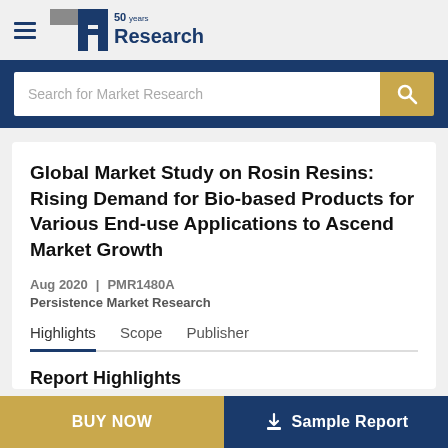BCC Research
Global Market Study on Rosin Resins: Rising Demand for Bio-based Products for Various End-use Applications to Ascend Market Growth
Aug 2020  |  PMR1480A
Persistence Market Research
Highlights  Scope  Publisher
Report Highlights
BUY NOW
Sample Report